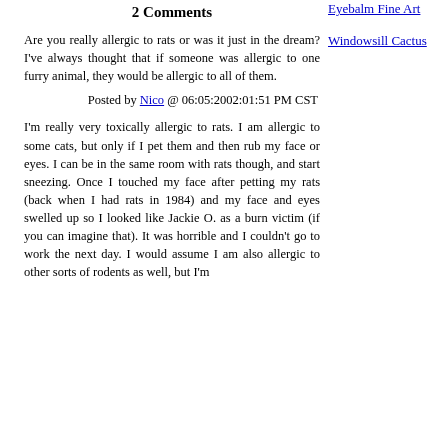2 Comments
Are you really allergic to rats or was it just in the dream? I've always thought that if someone was allergic to one furry animal, they would be allergic to all of them.
Posted by Nico @ 06:05:2002:01:51 PM CST
I'm really very toxically allergic to rats. I am allergic to some cats, but only if I pet them and then rub my face or eyes. I can be in the same room with rats though, and start sneezing. Once I touched my face after petting my rats (back when I had rats in 1984) and my face and eyes swelled up so I looked like Jackie O. as a burn victim (if you can imagine that). It was horrible and I couldn't go to work the next day. I would assume I am also allergic to other sorts of rodents as well, but I'm
Eyebalm Fine Art
Windowsill Cactus